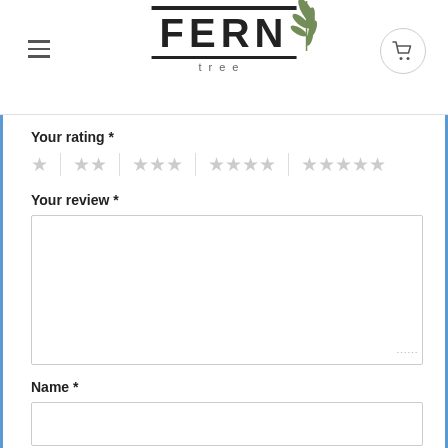FERN Tree - website header with logo, hamburger menu, and cart button
Your rating *
[Figure (other): Star rating selector with 5 groups: 1 star, 2 stars, 3 stars, 4 stars, 5 stars, all shown as empty/gray stars separated by dividers]
Your review *
Name *
Email *